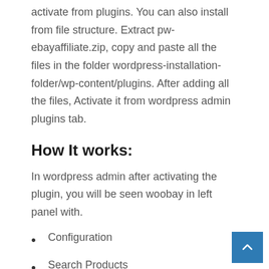activate from plugins. You can also install from file structure. Extract pw-ebayaffiliate.zip, copy and paste all the files in the folder wordpress-installation-folder/wp-content/plugins. After adding all the files, Activate it from wordpress admin plugins tab.
How It works:
In wordpress admin after activating the plugin, you will be seen woobay in left panel with.
Configuration
Search Products
Store Products
Manage By Keyword